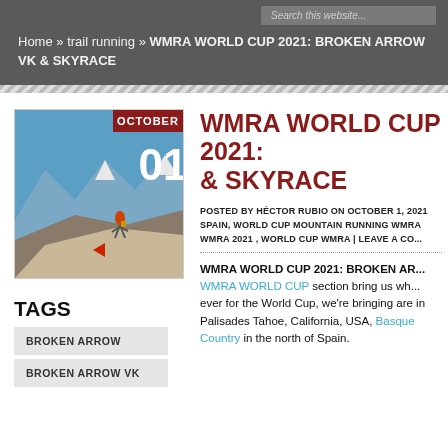Search this website... Home » trail running » WMRA WORLD CUP 2021: BROKEN ARROW VK & SKYRACE
[Figure (photo): Trail runner on rocky mountain ridge with snowy peaks in background, October 01 date badge overlay]
TAGS
BROKEN ARROW
BROKEN ARROW VK
WMRA WORLD CUP 2021: & SKYRACE
POSTED BY HÉCTOR RUBIO ON OCTOBER 1, 2021 SPAIN, WORLD CUP MOUNTAIN RUNNING WMRA WMRA 2021 , WORLD CUP WMRA | LEAVE A CO...
WMRA WORLD CUP 2021: BROKEN AR... WMRA WORLD CUP section bring us wh... ever for the World Cup, we're bringing are in Palisades Tahoe, California, USA, Basque Country in the north of Spain.